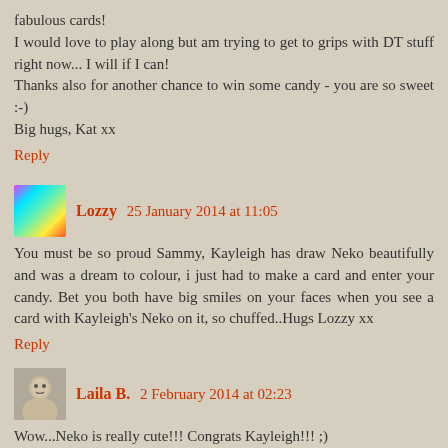fabulous cards!
I would love to play along but am trying to get to grips with DT stuff right now... I will if I can!
Thanks also for another chance to win some candy - you are so sweet :-)
Big hugs, Kat xx
Reply
Lozzy 25 January 2014 at 11:05
You must be so proud Sammy, Kayleigh has draw Neko beautifully and was a dream to colour, i just had to make a card and enter your candy. Bet you both have big smiles on your faces when you see a card with Kayleigh's Neko on it, so chuffed..Hugs Lozzy xx
Reply
Laila B. 2 February 2014 at 02:23
Wow...Neko is really cute!!! Congrats Kayleigh!!! ;)
Hugs, Laila